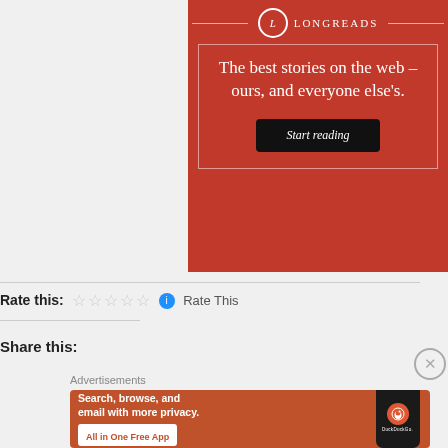[Figure (other): Longreads advertisement banner with red background, circular logo with L, tagline 'The best stories on the web – ours, and everyone else's.' and a 'Start reading' button]
Rate this: ☆☆☆☆☆  Rate This
Share this:
[Figure (other): DuckDuckGo advertisement: 'Search, browse, and email with more privacy. All in One Free App' with phone graphic and DuckDuckGo logo]
Advertisements